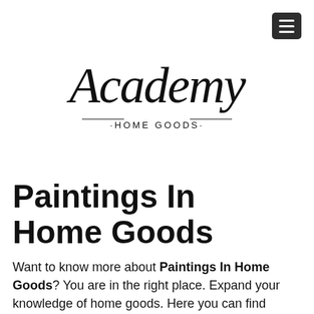[Figure (logo): Academy Home Goods logo in cursive/script font with '·HOME GOODS·' subtitle]
Paintings In Home Goods
Want to know more about Paintings In Home Goods? You are in the right place. Expand your knowledge of home goods. Here you can find everything about